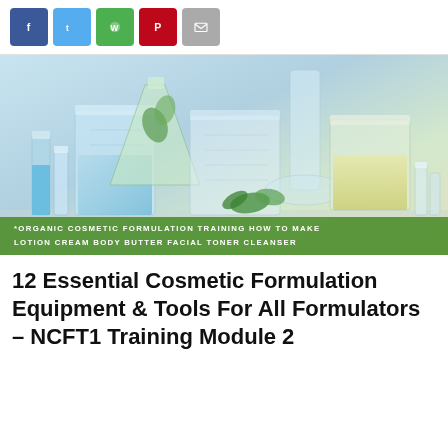[Social share buttons: Facebook, Twitter, WhatsApp, Pinterest, Email]
[Figure (photo): Laboratory glassware including beakers, Erlenmeyer flasks, and vials with blue and clear liquids and green plants on a reflective surface]
*ORGANIC COSMETIC FORMULATION TRAINING HOW TO MAKE LOTION CREAM BODY BUTTER FACIAL TONER CLEANSER
12 Essential Cosmetic Formulation Equipment & Tools For All Formulators – NCFT1 Training Module 2